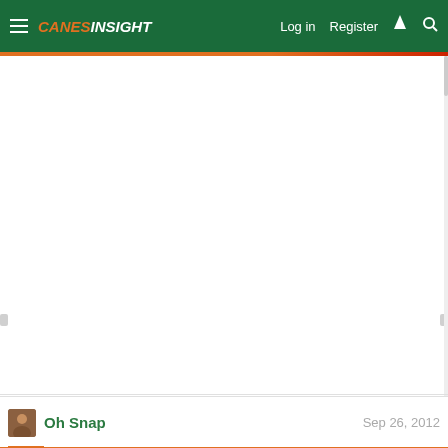CanesInsight - Log in | Register
[Figure (screenshot): Large white blank content area, likely an advertisement or embedded content that did not load]
Oh Snap   Sep 26, 2012